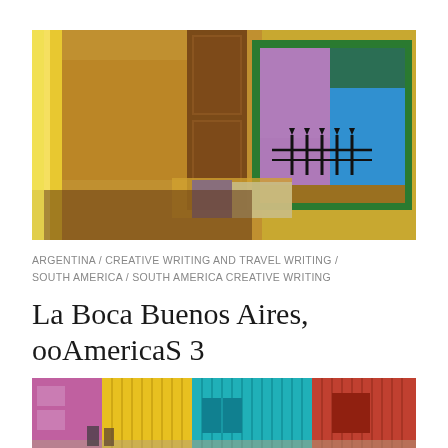[Figure (photo): Interior room view looking through an open window with green frame onto a colorful courtyard with blue walls, purple walls, and black iron railings. Inside shows warm yellow and brown tones, wooden door, and fabric on the sill.]
ARGENTINA / CREATIVE WRITING AND TRAVEL WRITING / SOUTH AMERICA / SOUTH AMERICA CREATIVE WRITING
La Boca Buenos Aires, ooAmericaS 3
[Figure (photo): Colorful facades of buildings in La Boca, Buenos Aires, showing bright yellow, teal/blue, and red corrugated metal walls with shutters.]